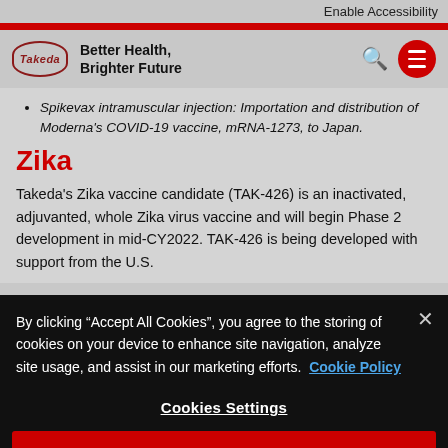Enable Accessibility
[Figure (logo): Takeda logo oval with text 'Takeda' and tagline 'Better Health, Brighter Future', search icon, and red circular menu button]
Spikevax intramuscular injection: Importation and distribution of Moderna's COVID-19 vaccine, mRNA-1273, to Japan.
Zika
Takeda's Zika vaccine candidate (TAK-426) is an inactivated, adjuvanted, whole Zika virus vaccine and will begin Phase 2 development in mid-CY2022. TAK-426 is being developed with support from the U.S.
By clicking “Accept All Cookies”, you agree to the storing of cookies on your device to enhance site navigation, analyze site usage, and assist in our marketing efforts.  Cookie Policy
Cookies Settings
Reject All